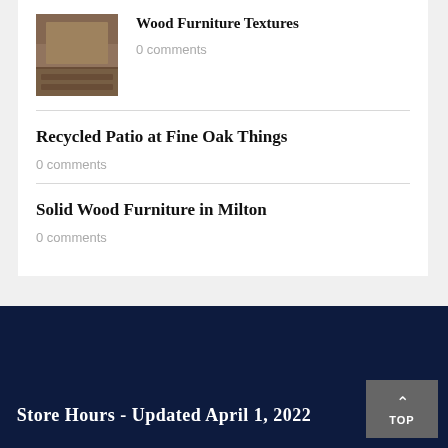[Figure (photo): Thumbnail image of wood furniture textures — wooden table/bench surface]
Wood Furniture Textures
0 comments
Recycled Patio at Fine Oak Things
0 comments
Solid Wood Furniture in Milton
0 comments
Store Hours - Updated April 1, 2022